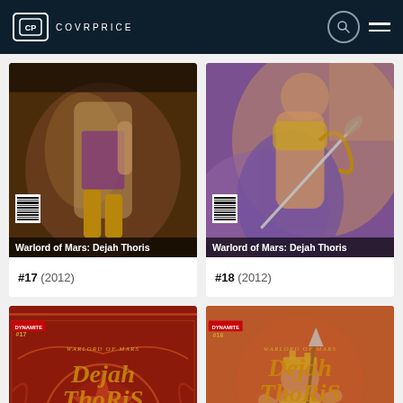COVRPRICE
[Figure (illustration): Comic book cover for Warlord of Mars: Dejah Thoris #17 (2012), showing a fantasy warrior woman in brown and gold tones]
Warlord of Mars: Dejah Thoris
#17 (2012)
[Figure (illustration): Comic book cover for Warlord of Mars: Dejah Thoris #18 (2012), showing a fantasy warrior woman in purple and gold tones]
Warlord of Mars: Dejah Thoris
#18 (2012)
[Figure (illustration): Comic book cover for Warlord of Mars: Dejah Thoris #19, red ornamental cover with Dynamite logo]
[Figure (illustration): Comic book cover for Warlord of Mars: Dejah Thoris, showing a warrior woman with staff against orange-red sky]